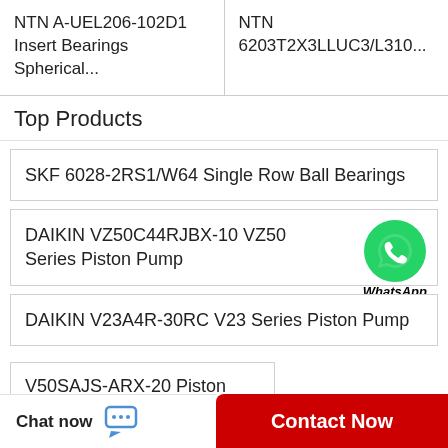NTN A-UEL206-102D1 Insert Bearings Spherical...
NTN 6203T2X3LLUC3/L310...
Top Products
SKF 6028-2RS1/W64 Single Row Ball Bearings
DAIKIN VZ50C44RJBX-10 VZ50 Series Piston Pump
[Figure (logo): WhatsApp green circle icon with phone handset, labeled WhatsApp Online]
DAIKIN V23A4R-30RC V23 Series Piston Pump
V50SAJS-ARX-20 Piston Pump
Timken 663 Bearing
Chat now
Contact Now